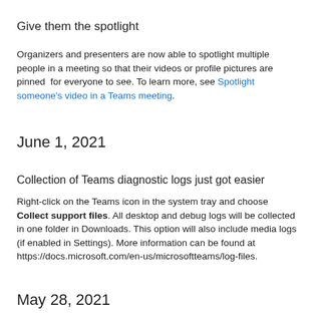Give them the spotlight
Organizers and presenters are now able to spotlight multiple people in a meeting so that their videos or profile pictures are pinned  for everyone to see. To learn more, see Spotlight someone's video in a Teams meeting.
June 1, 2021
Collection of Teams diagnostic logs just got easier
Right-click on the Teams icon in the system tray and choose Collect support files. All desktop and debug logs will be collected in one folder in Downloads. This option will also include media logs (if enabled in Settings). More information can be found at https://docs.microsoft.com/en-us/microsoftteams/log-files.
May 28, 2021